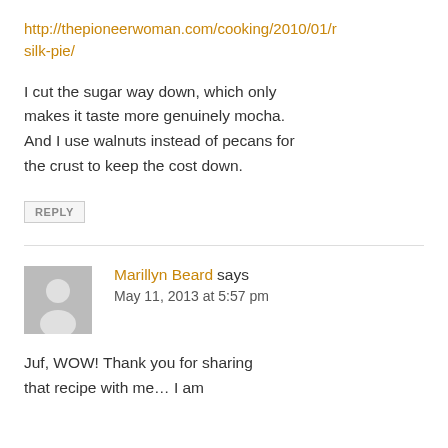http://thepioneerwoman.com/cooking/2010/01/r
silk-pie/
I cut the sugar way down, which only makes it taste more genuinely mocha. And I use walnuts instead of pecans for the crust to keep the cost down.
REPLY
Marillyn Beard says
May 11, 2013 at 5:57 pm
Juf, WOW! Thank you for sharing that recipe with me… I am